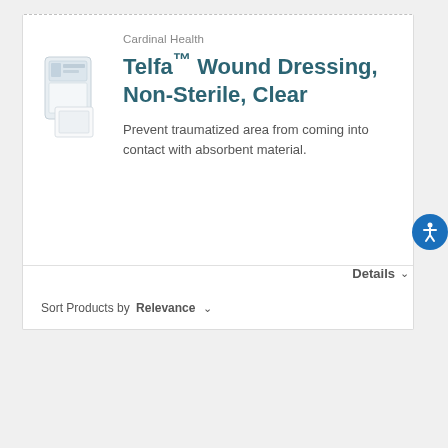Cardinal Health
Telfa™ Wound Dressing, Non-Sterile, Clear
Prevent traumatized area from coming into contact with absorbent material.
Details ▾
[Figure (photo): Product image of Telfa wound dressing packaging, showing white/clear medical wound dressing pads]
Sort Products by  Relevance ▾